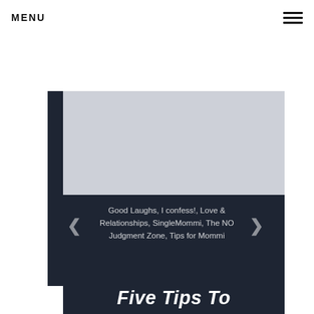MENU
[Figure (screenshot): Dark navy UI panel with left vertical bar, navigation arrows (left and right chevrons), category tags text, and partial article title at bottom]
Good Laughs, I confess!, Love & Relationships, SingleMommi, The NO Judgment Zone, Tips for Mommi
Five Tips To